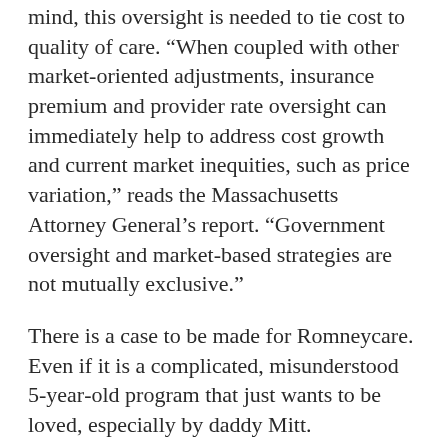mind, this oversight is needed to tie cost to quality of care. “When coupled with other market-oriented adjustments, insurance premium and provider rate oversight can immediately help to address cost growth and current market inequities, such as price variation,” reads the Massachusetts Attorney General’s report. “Government oversight and market-based strategies are not mutually exclusive.”
There is a case to be made for Romneycare. Even if it is a complicated, misunderstood 5-year-old program that just wants to be loved, especially by daddy Mitt.
TAGS
NEWS
MITT ROMNEY
HEALTHCARE
2012
POLITICS